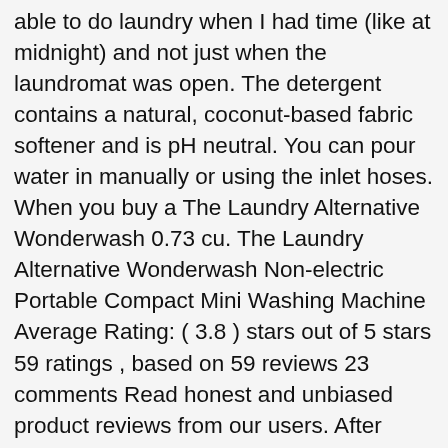able to do laundry when I had time (like at midnight) and not just when the laundromat was open. The detergent contains a natural, coconut-based fabric softener and is pH neutral. You can pour water in manually or using the inlet hoses. When you buy a The Laundry Alternative Wonderwash 0.73 cu. The Laundry Alternative Wonderwash Non-electric Portable Compact Mini Washing Machine Average Rating: ( 3.8 ) stars out of 5 stars 59 ratings , based on 59 reviews 23 comments Read honest and unbiased product reviews from our users. After more research we discovered that Laundry Alternative also made a spin dryer, so we bought both. I followed the directions by trying to balance the load manually. Colour: White Verified Purchase. Show listings Show reviews . Shipping may vary based on location. Specializing in highly unique, compact, energy-efficient washing machines and clothes dryers. Toward the end of the video, you can see that my clothes are practically dry. We pitted 17 detergents against 10 common stains in cold water and found the best laundry detergent for everyday use. Find